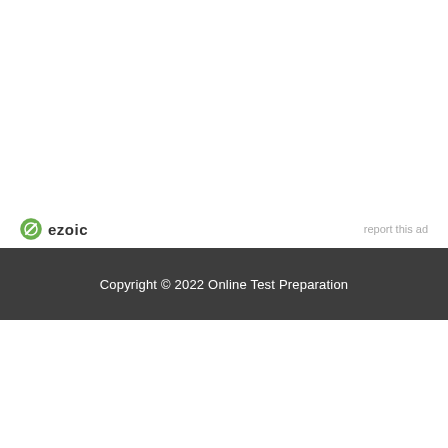[Figure (logo): Ezoic logo with green circle icon and 'ezoic' text in bold, alongside 'report this ad' link]
Copyright © 2022 Online Test Preparation